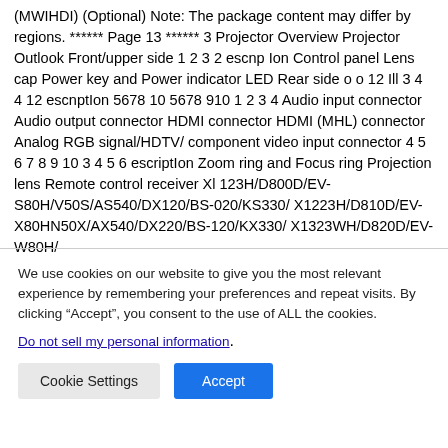(MWIHDI) (Optional) Note: The package content may differ by regions. ****** Page 13 ****** 3 Projector Overview Projector Outlook Front/upper side 1 2 3 2 escnp Ion Control panel Lens cap Power key and Power indicator LED Rear side o o 12 Ill 3 4 4 12 escnptIon 5678 10 5678 910 1 2 3 4 Audio input connector Audio output connector HDMI connector HDMI (MHL) connector Analog RGB signal/HDTV/ component video input connector 4 5 6 7 8 9 10 3 4 5 6 escriptIon Zoom ring and Focus ring Projection lens Remote control receiver Xl 123H/D800D/EV-S80H/V50S/AS540/DX120/BS-020/KS330/ X1223H/D810D/EV-X80HN50X/AX540/DX220/BS-120/KX330/ X1323WH/D820D/EV-W80H/
We use cookies on our website to give you the most relevant experience by remembering your preferences and repeat visits. By clicking “Accept”, you consent to the use of ALL the cookies.
Do not sell my personal information.
Cookie Settings  Accept